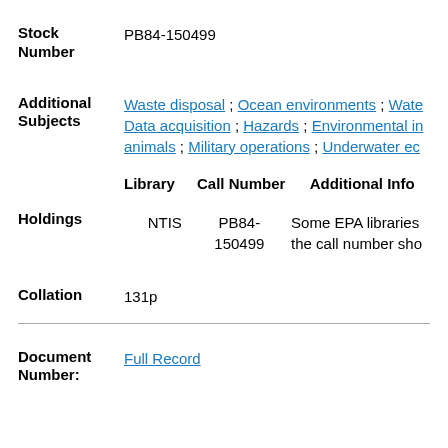Stock Number: PB84-150499
Additional Subjects: Waste disposal ; Ocean environments ; Water ; Data acquisition ; Hazards ; Environmental impact ; animals ; Military operations ; Underwater ecology
| Library | Call Number | Additional Info |
| --- | --- | --- |
| NTIS | PB84-150499 | Some EPA libraries the call number sho |
Holdings
Collation: 131p
Document Number:
Full Record